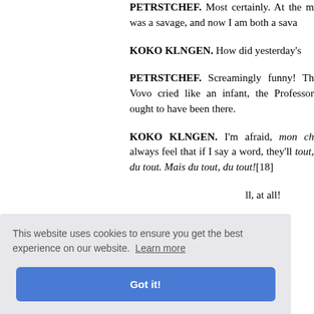PETRSTCHEF. Most certainly. At the m was a savage, and now I am both a sava
KOKO KLNGEN. How did yesterday's
PETRSTCHEF. Screamingly funny! Th Vovo cried like an infant, the Professor ought to have been there.
KOKO KLNGEN. I'm afraid, mon ch always feel that if I say a word, they'll tout, du tout. Mais du tout, du tout![18]
ll, at all!
proposal, all for m
k how yo
This website uses cookies to ensure you get the best experience on our website. Learn more
Got it!